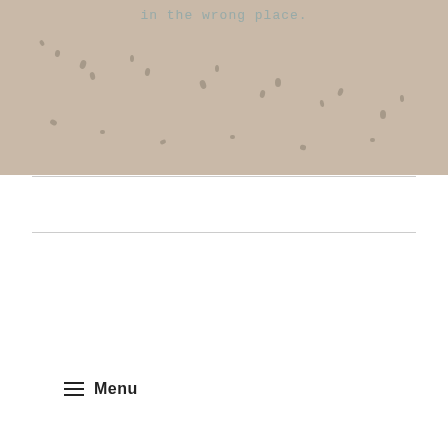[Figure (photo): A sandy beach with small dark footprints scattered across the sand. Text overlay reads 'in the wrong place.' in a muted teal/grey color.]
Menu
DECEMBER 22, 2015
Nine years
Nine years ago I married my wonderful husband. Those nine years have been some of the happiest of my life. Three children, many adventures home and abroad, changes to our family, additions, dreadful